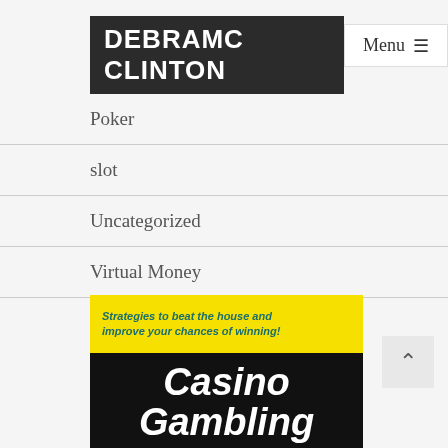DEBRAMC CLINTON
Poker
slot
Uncategorized
Virtual Money
[Figure (photo): Book cover of 'Casino Gambling for Dummies' — yellow top band with italic teal text 'Strategies to beat the house and improve your chances of winning!', black bottom with white italic large text 'Casino Gambling' and yellow 'DUMMIES' text]